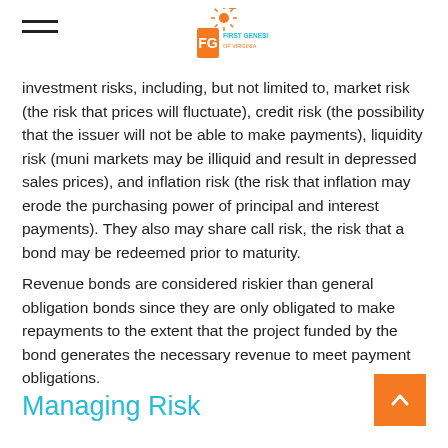First Genesis of Virginia logo and hamburger menu
investment risks, including, but not limited to, market risk (the risk that prices will fluctuate), credit risk (the possibility that the issuer will not be able to make payments), liquidity risk (muni markets may be illiquid and result in depressed sales prices), and inflation risk (the risk that inflation may erode the purchasing power of principal and interest payments). They also may share call risk, the risk that a bond may be redeemed prior to maturity.
Revenue bonds are considered riskier than general obligation bonds since they are only obligated to make repayments to the extent that the project funded by the bond generates the necessary revenue to meet payment obligations.
Managing Risk